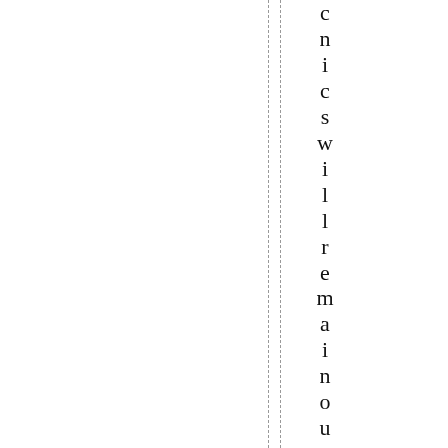nics will remain outside the t